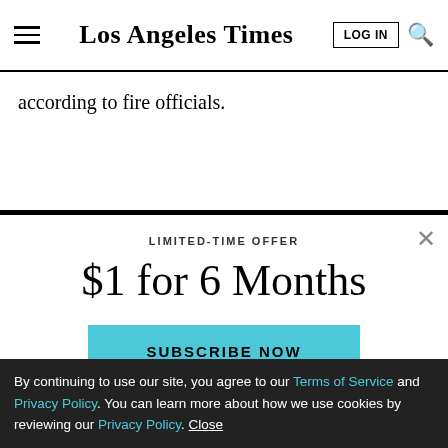Los Angeles Times
according to fire officials.
LIMITED-TIME OFFER
$1 for 6 Months
SUBSCRIBE NOW
By continuing to use our site, you agree to our Terms of Service and Privacy Policy. You can learn more about how we use cookies by reviewing our Privacy Policy. Close